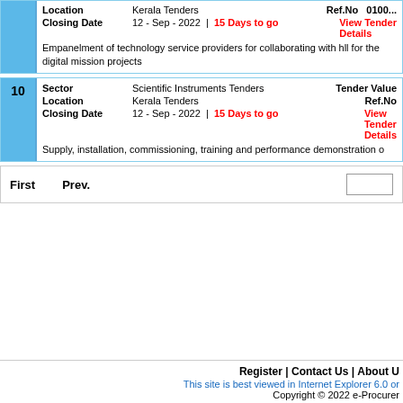| Field | Value | Right |
| --- | --- | --- |
| Location | Kerala Tenders | Ref.No  010... |
| Closing Date | 12 - Sep - 2022 | 15 Days to go | View Tender Details |
| Description | Empanelment of technology service providers for collaborating with hll for the digital mission projects |  |
| Field | Value | Right |
| --- | --- | --- |
| Sector | Scientific Instruments Tenders | Tender Value |
| Location | Kerala Tenders | Ref.No |
| Closing Date | 12 - Sep - 2022 | 15 Days to go | View Tender Details |
| Description | Supply, installation, commissioning, training and performance demonstration of |  |
First   Prev.   [ ]
Register | Contact Us | About U... This site is best viewed in Internet Explorer 6.0 or... Copyright © 2022 e-Procurer